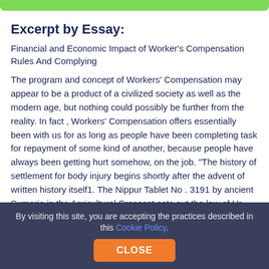Excerpt by Essay:
Financial and Economic Impact of Worker's Compensation Rules And Complying
The program and concept of Workers' Compensation may appear to be a product of a civilized society as well as the modern age, but nothing could possibly be further from the reality. In fact , Workers' Compensation offers essentially been with us for as long as people have been completing task for repayment of some kind of another, because people have always been getting hurt somehow, on the job. "The history of settlement for body injury begins shortly after the advent of written history itself1. The Nippur Tablet No . 3191 by ancient Sumeria in the Agricultural Crescent sets out the law of Ur-Nammu, king of the city-state of Ur. It date ranges to about 2050 N. C. installment payments on your The law of Ur offered monetary settlement for particular
By visiting this site, you are accepting the practices described in this Cookie Policy.